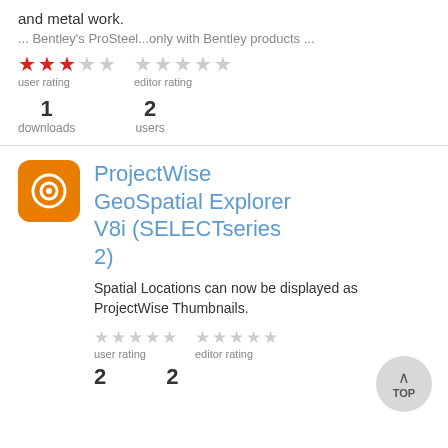and metal work.
... Bentley's ProSteel...only with Bentley products ...
user rating: 3 stars (red), editor rating: 0 stars (gray)
1 downloads   2 users
[Figure (logo): Orange square icon with circular target/viewfinder symbol in white]
ProjectWise GeoSpatial Explorer V8i (SELECTseries 2)
Spatial Locations can now be displayed as ProjectWise Thumbnails.
user rating: 0 stars (gray), editor rating: 0 stars (gray)
2   2